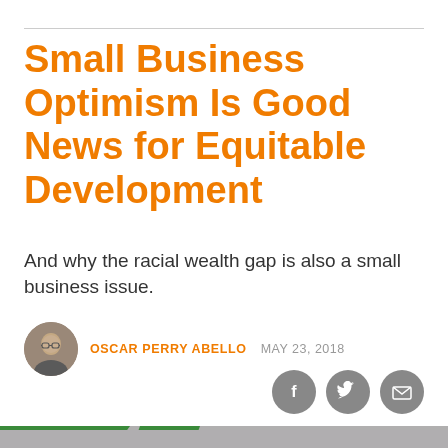Small Business Optimism Is Good News for Equitable Development
And why the racial wealth gap is also a small business issue.
OSCAR PERRY ABELLO   MAY 23, 2018
[Figure (illustration): Green illustrated banner/money graphic with purple notification bar: 'Get our stories delivered directly to your phone with the NEW Next City app!']